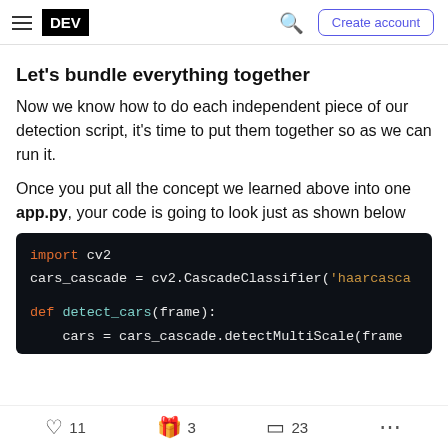DEV | Create account
Let's bundle everything together
Now we know how to do each independent piece of our detection script, it's time to put them together so as we can run it.
Once you put all the concept we learned above into one app.py, your code is going to look just as shown below
[Figure (screenshot): Dark-themed Python code block showing: import cv2, cars_cascade = cv2.CascadeClassifier('haarcasca..., def detect_cars(frame):, cars = cars_cascade.detectMultiScale(frame...]
11 likes  3 unicorns  23 bookmarks  ...